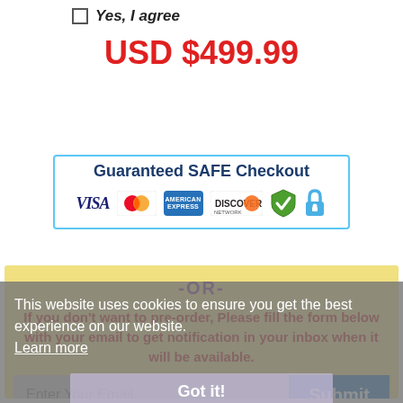Yes, I agree
USD $499.99
Add to Cart
[Figure (infographic): Guaranteed SAFE Checkout banner with payment logos: VISA, MasterCard, American Express, Discover, plus security badge and lock icon]
-OR-
If you don't want to pre-order, Please fill the form below with your email to get notification in your inbox when it will be available.
This website uses cookies to ensure you get the best experience on our website. Learn more
Enter Your Email
Submit
Got it!